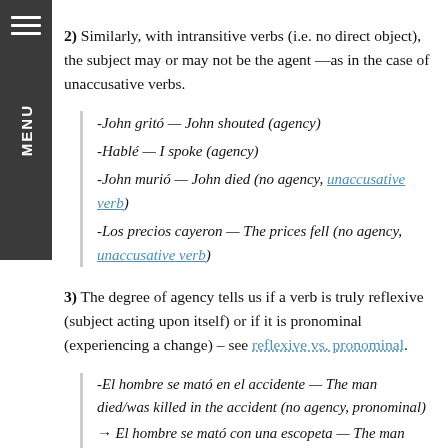2) Similarly, with intransitive verbs (i.e. no direct object), the subject may or may not be the agent —as in the case of unaccusative verbs.
-John gritó — John shouted (agency)
-Hablé — I spoke (agency)
-John murió — John died (no agency, unaccusative verb)
-Los precios cayeron — The prices fell (no agency, unaccusative verb)
3) The degree of agency tells us if a verb is truly reflexive (subject acting upon itself) or if it is pronominal (experiencing a change) – see reflexive vs. pronominal.
-El hombre se mató en el accidente — The man died/was killed in the accident (no agency, pronominal)
→ El hombre se mató con una escopeta — The man killed himself with a shotgun (agency, reflexive)